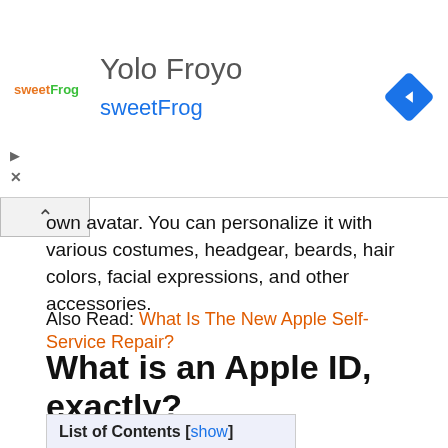[Figure (screenshot): Ad banner for Yolo Froyo sweetFrog with logo, title, subtitle, navigation diamond icon, and play/close controls]
own avatar. You can personalize it with various costumes, headgear, beards, hair colors, facial expressions, and other accessories.
Also Read: What Is The New Apple Self-Service Repair?
What is an Apple ID, exactly?
List of Contents [show]
With an Apple ID, you can use the iTunes Store, the App Store, Apple Books, iCloud, FaceTime, and other Apple services.